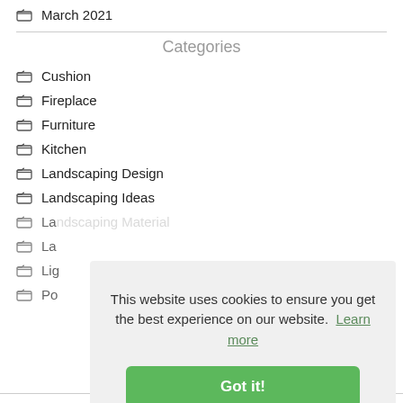March 2021
Categories
Cushion
Fireplace
Furniture
Kitchen
Landscaping Design
Landscaping Ideas
Landscaping Materials (partially visible)
La... (partially visible)
Lig... (partially visible)
Po... (partially visible)
This website uses cookies to ensure you get the best experience on our website. Learn more
Got it!